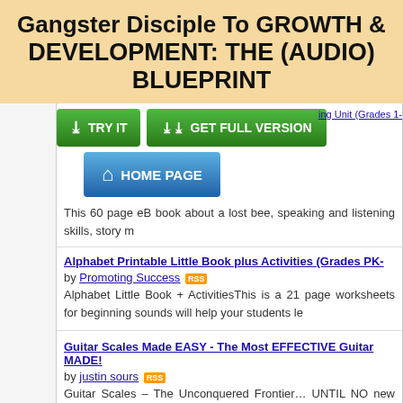Gangster Disciple To GROWTH & DEVELOPMENT: THE (AUDIO) BLUEPRINT
[Figure (screenshot): Three buttons: TRY IT (green), GET FULL VERSION (green), HOME PAGE (blue)]
This 60 page eB book about a lost bee, speaking and listening skills, story m
Alphabet Printable Little Book plus Activities (Grades PK-
by Promoting Success
Alphabet Little Book + ActivitiesThis is a 21 page worksheets for beginning sounds will help your students le
Guitar Scales Made EASY - The Most EFFECTIVE Guitar MADE!
by justin sours
Guitar Scales – The Unconquered Frontier… UNTIL NO new beginner or been playing for 10+ years, Guitar ...